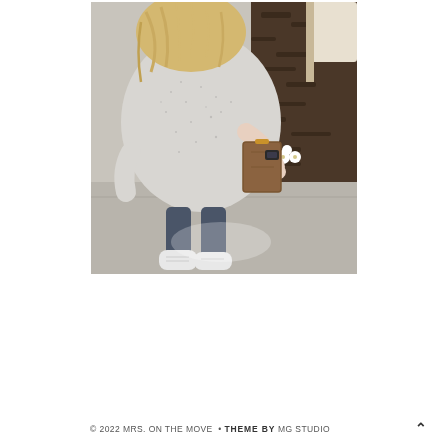[Figure (photo): Overhead/bird's-eye view photo of a woman with long blonde hair wearing a light grey speckled knit sweater and jeans with white sneakers, holding a brown leather clutch bag. She is standing on a concrete surface near a garden bed with white flowers and dark mulch.]
© 2022 MRS. ON THE MOVE • THEME BY MG STUDIO ∧